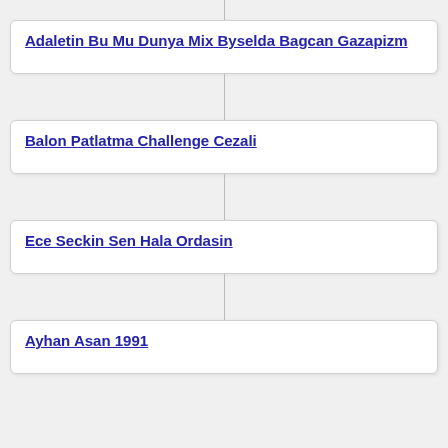Adaletin Bu Mu Dunya Mix Byselda Bagcan Gazapizm
Balon Patlatma Challenge Cezali
Ece Seckin Sen Hala Ordasin
Ayhan Asan 1991
Minecraft Mod Showcase Superheroes Unlimited
2 Kpss 2020 Vatandaslik Soru Cozumu Emrah Vahap Ozkaraca